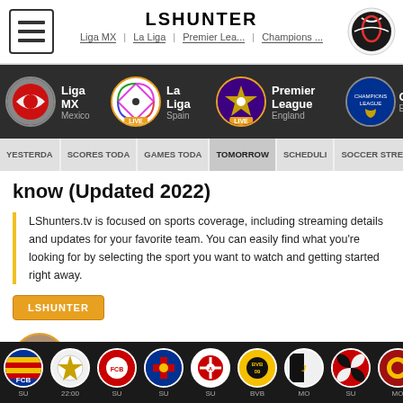LSHUNTER | Liga MX | La Liga | Premier Lea... | Champions ...
[Figure (screenshot): League navigation bar with Liga MX, La Liga (LIVE), Premier League (LIVE), Champions League logos]
YESTERDA | SCORES TODA | GAMES TODA | TOMORROW | SCHEDULI | SOCCER STREAM
know (Updated 2022)
LShunters.tv is focused on sports coverage, including streaming details and updates for your favorite team. You can easily find what you're looking for by selecting the sport you want to watch and getting started right away.
LSHUNTER
Nicole Sommer - Soccer expert
Saturday, 20.August 2022
[Figure (screenshot): Bottom bar with soccer club logos: Barcelona (SU), Real Madrid (22:00), Bayern Munich (SU), PSG (SU), Ajax (SU), Borussia Dortmund (BVB), Juventus (MO), AC Milan (SU), Roma (MO)]